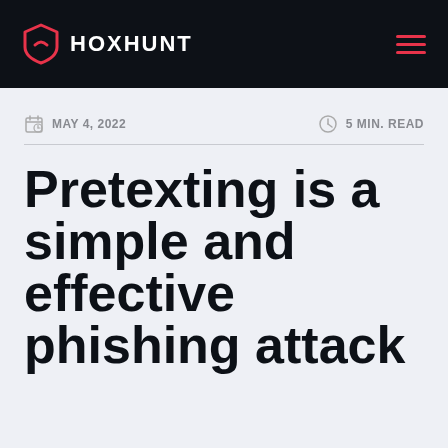HOXHUNT
MAY 4, 2022   5 MIN. READ
Pretexting is a simple and effective phishing attack